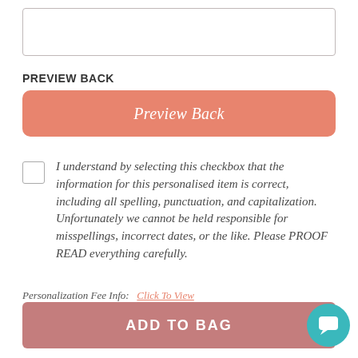[Figure (other): Empty text input box]
PREVIEW BACK
[Figure (other): Preview Back button - salmon/coral colored rounded button]
I understand by selecting this checkbox that the information for this personalised item is correct, including all spelling, punctuation, and capitalization. Unfortunately we cannot be held responsible for misspellings, incorrect dates, or the like. Please PROOF READ everything carefully.
Personalization Fee Info:   Click To View
[Figure (other): ADD TO BAG button - muted rose/mauve colored button with chat bubble icon]